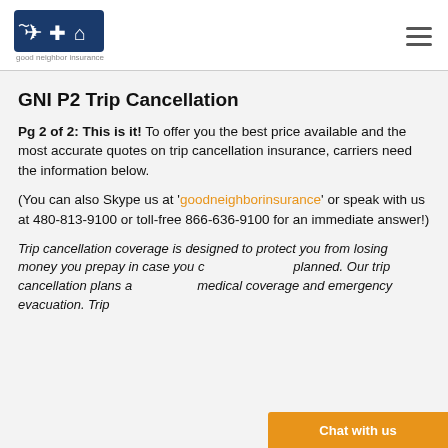Good Neighbor Insurance (logo) | hamburger menu
GNI P2 Trip Cancellation
Pg 2 of 2: This is it! To offer you the best price available and the most accurate quotes on trip cancellation insurance, carriers need the information below.
(You can also Skype us at 'goodneighborinsurance' or speak with us at 480-813-9100 or toll-free 866-636-9100 for an immediate answer!)
Trip cancellation coverage is designed to protect you from losing money you prepay in case you cannot travel as planned. Our trip cancellation plans a... medical coverage and emergency evacuation. Trip